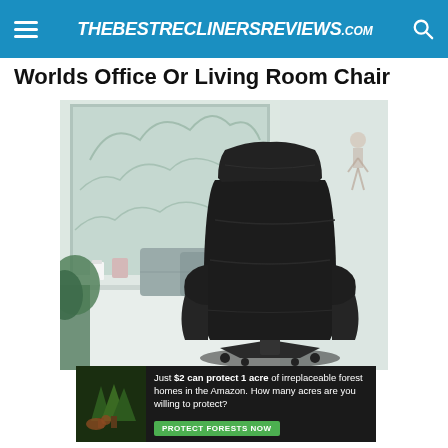THEBESTRECLINERSREVIEWS.com
Worlds Office Or Living Room Chair
[Figure (photo): Black leather executive recliner chair positioned in a bright living room near a large window with a grey cushion on the windowsill, plants, and a white candle in the background.]
[Figure (infographic): Advertisement banner: 'Just $2 can protect 1 acre of irreplaceable forest homes in the Amazon. How many acres are you willing to protect?' with a green PROTECT FORESTS NOW button and a forest background image.]